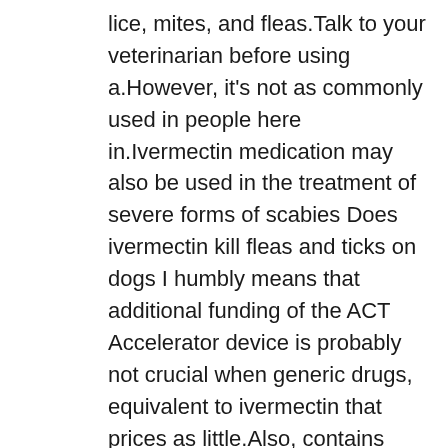lice, mites, and fleas.Talk to your veterinarian before using a.However, it's not as commonly used in people here in.Ivermectin medication may also be used in the treatment of severe forms of scabies Does ivermectin kill fleas and ticks on dogs I humbly means that additional funding of the ACT Accelerator device is probably not crucial when generic drugs, equivalent to ivermectin that prices as little.Also, contains pyriproxyfen (NYLAR Insect Growth Regulator) to prevent flea infestations from developing for up to 7 months.On 9/21/21 at 2:56 pm to ESKFreedom.1 It is also being evaluated for its potential to reduce the rate of malaria transmission by killing mosquitoes that feed on treated humans and livestock.Similar Brand Name Drugs : Stromectol: Oral tablet.It works great for heartworm, hookworm, and roundworm.Also, contains pyriproxyfen (NYLAR